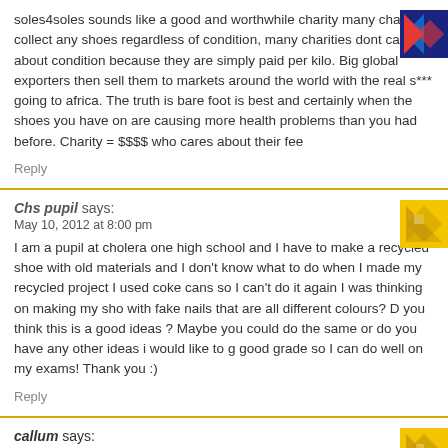soles4soles sounds like a good and worthwhile charity many charities collect any shoes regardless of condition, many charities dont care about condition because they are simply paid per kilo. Big global exporters then sell them to markets around the world with the real s*** going to africa. The truth is bare foot is best and certainly when the shoes you have on are causing more health problems than you had before. Charity = $$$$ who cares about their fee
Reply
Chs pupil says:
May 10, 2012 at 8:00 pm
I am a pupil at cholera one high school and I have to make a recycled shoe with old materials and I don't know what to do when I made my recycled project I used coke cans so I can't do it again I was thinking on making my sho with fake nails that are all different colours? D you think this is a good ideas ? Maybe you could do the same or do you have any other ideas i would like to g good grade so I can do well on my exams! Thank you :)
Reply
callum says:
February 23, 2013 at 1:03 pm